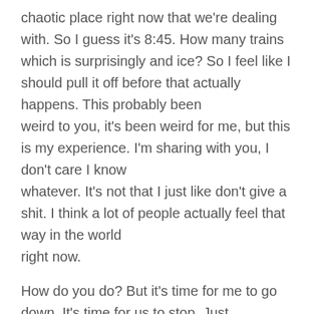chaotic place right now that we're dealing with. So I guess it's 8:45. How many trains which is surprisingly and ice? So I feel like I should pull it off before that actually happens. This probably been
weird to you, it's been weird for me, but this is my experience. I'm sharing with you, I don't care I know
whatever. It's not that I just like don't give a shit. I think a lot of people actually feel that way in the world
right now.
How do you do? But it's time for me to go down. It's time for us to stop. Just continuing to. Prioritize the
wrong things. All these things that I don't want